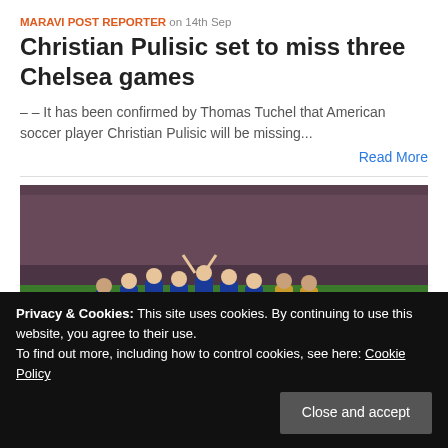MARAVI POST REPORTER on 14th Sep
Christian Pulisic set to miss three Chelsea games
– – It has been confirmed by Thomas Tuchel that American soccer player Christian Pulisic will be missing...
Read More
[Figure (photo): Soccer players in blue uniforms celebrating on a pitch, with a goalkeeper in green in the foreground]
world. Europe's elite...
Privacy & Cookies: This site uses cookies. By continuing to use this website, you agree to their use. To find out more, including how to control cookies, see here: Cookie Policy
Close and accept